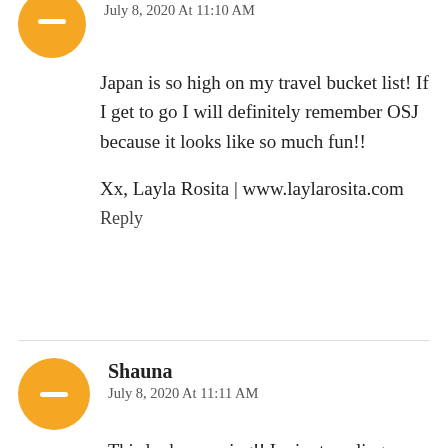July 8, 2020 At 11:10 AM
Japan is so high on my travel bucket list! If I get to go I will definitely remember OSJ because it looks like so much fun!!
Xx, Layla Rosita | www.laylarosita.com
Reply
Shauna
July 8, 2020 At 11:11 AM
This looks amazing!!  I miss traveling so much..
Shauna
www.lipglossandlace.net